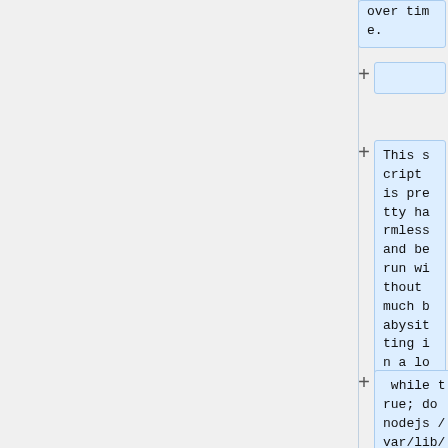over time.
This script is pretty harmless and be run without much babysitting in a loop:
while true; do nodejs /var/lib/mediawiki-cache-warmup/warmup.js urls-cluster.txt spread